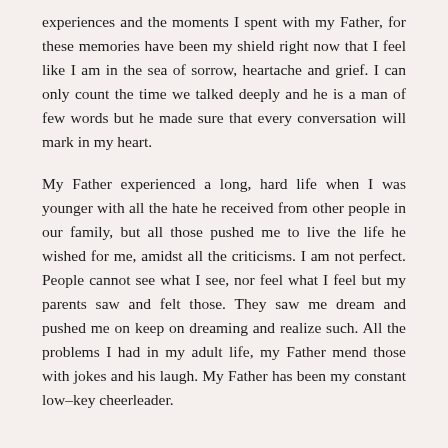experiences and the moments I spent with my Father, for these memories have been my shield right now that I feel like I am in the sea of sorrow, heartache and grief. I can only count the time we talked deeply and he is a man of few words but he made sure that every conversation will mark in my heart.
My Father experienced a long, hard life when I was younger with all the hate he received from other people in our family, but all those pushed me to live the life he wished for me, amidst all the criticisms. I am not perfect. People cannot see what I see, nor feel what I feel but my parents saw and felt those. They saw me dream and pushed me on keep on dreaming and realize such. All the problems I had in my adult life, my Father mend those with jokes and his laugh. My Father has been my constant low–key cheerleader.